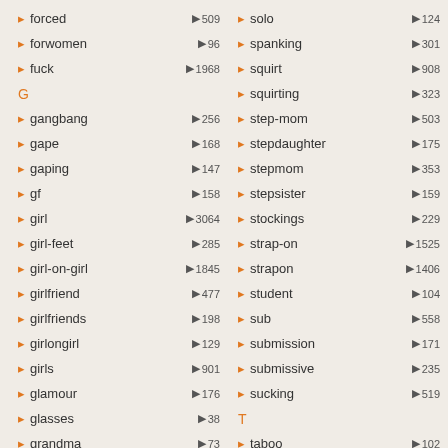forced 509
forwomen 96
fuck 1968
G
gangbang 256
gape 168
gaping 147
gf 158
girl 3064
girl-feet 285
girl-on-girl 1845
girlfriend 477
girlfriends 198
girlongirl 129
girls 901
glamour 176
glasses 38
grandma 73
solo 124
spanking 301
squirt 908
squirting 323
step-mom 503
stepdaughter 175
stepmom 353
stepsister 159
stockings 229
strap-on 1525
strapon 1406
student 104
sub 558
submission 171
submissive 235
sucking 519
T
taboo 102